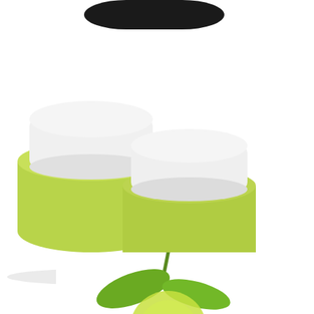[Figure (photo): Partial view of a dark object at the top of the page, cropped]
20 Ways t
[Figure (photo): Two green cylindrical jars with white lids, containing a green scrub or cream product]
I'll have a m that's a goo not at all int The mango Fragrance O and maybe
20 Ways to
[Figure (photo): Green leaves and lime/citrus fruit partially visible at the bottom of the page]